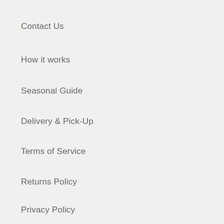About
Contact Us
How it works
Seasonal Guide
Delivery & Pick-Up
Terms of Service
Returns Policy
Privacy Policy